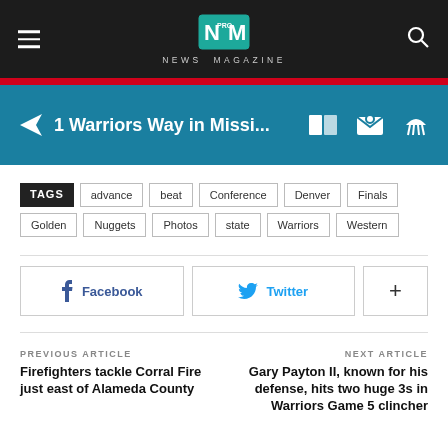NEWS MAGAZINE
1 Warriors Way in Missi...
TAGS  advance  beat  Conference  Denver  Finals  Golden  Nuggets  Photos  state  Warriors  Western
Facebook  Twitter  +
PREVIOUS ARTICLE
Firefighters tackle Corral Fire just east of Alameda County
NEXT ARTICLE
Gary Payton II, known for his defense, hits two huge 3s in Warriors Game 5 clincher